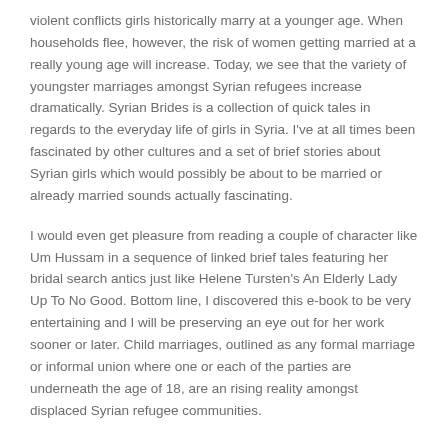violent conflicts girls historically marry at a younger age. When households flee, however, the risk of women getting married at a really young age will increase. Today, we see that the variety of youngster marriages amongst Syrian refugees increase dramatically. Syrian Brides is a collection of quick tales in regards to the everyday life of girls in Syria. I've at all times been fascinated by other cultures and a set of brief stories about Syrian girls which would possibly be about to be married or already married sounds actually fascinating.
I would even get pleasure from reading a couple of character like Um Hussam in a sequence of linked brief tales featuring her bridal search antics just like Helene Tursten's An Elderly Lady Up To No Good. Bottom line, I discovered this e-book to be very entertaining and I will be preserving an eye out for her work sooner or later. Child marriages, outlined as any formal marriage or informal union where one or each of the parties are underneath the age of 18, are an rising reality amongst displaced Syrian refugee communities.